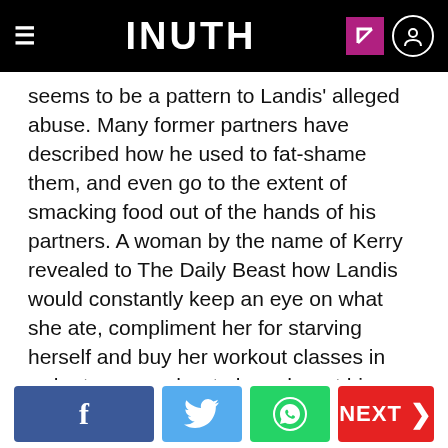INUTH
seems to be a pattern to Landis’ alleged abuse. Many former partners have described how he used to fat-shame them, and even go to the extent of smacking food out of the hands of his partners. A woman by the name of Kerry revealed to The Daily Beast how Landis would constantly keep an eye on what she ate, compliment her for starving herself and buy her workout classes in order to ensure her to keep her at his desired weight.
[Figure (other): Social share buttons: Facebook, Twitter, WhatsApp, and a NEXT button]